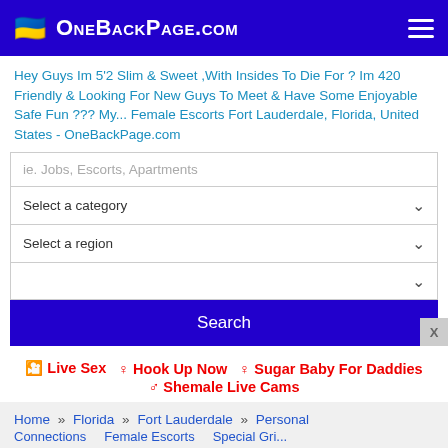OneBackPage.com
Hey Guys Im 5'2 Slim & Sweet ,With Insides To Die For ? Im 420 Friendly & Looking For New Guys To Meet & Have Some Enjoyable Safe Fun ??? My... Female Escorts Fort Lauderdale, Florida, United States - OneBackPage.com
ie. Jobs, Escorts, Apartments
Select a category
Select a region
Search
🎥 Live Sex   ♀ Hook Up Now   ♀ Sugar Baby For Daddies   ♂ Shemale Live Cams
Home » Florida » Fort Lauderdale » Personal